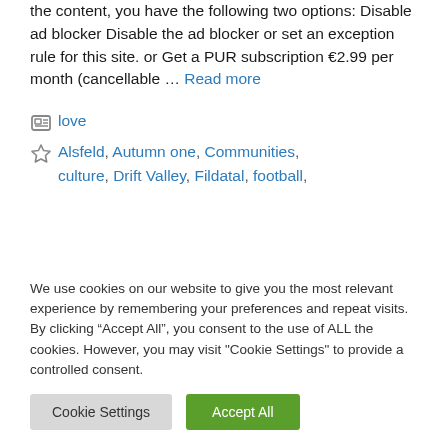the content, you have the following two options: Disable ad blocker Disable the ad blocker or set an exception rule for this site. or Get a PUR subscription €2.99 per month (cancellable … Read more
love
Alsfeld, Autumn one, Communities, culture, Drift Valley, Fildatal, football,
We use cookies on our website to give you the most relevant experience by remembering your preferences and repeat visits. By clicking "Accept All", you consent to the use of ALL the cookies. However, you may visit "Cookie Settings" to provide a controlled consent.